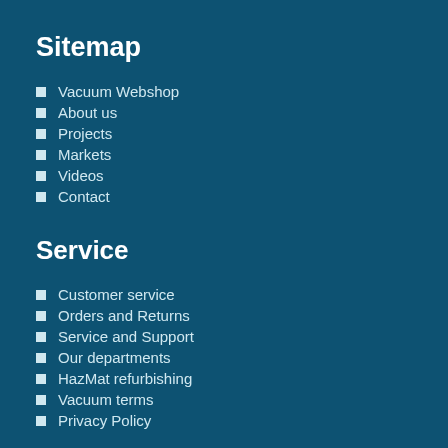Sitemap
Vacuum Webshop
About us
Projects
Markets
Videos
Contact
Service
Customer service
Orders and Returns
Service and Support
Our departments
HazMat refurbishing
Vacuum terms
Privacy Policy
Contact